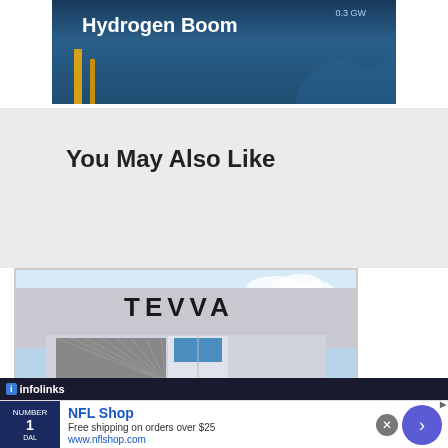[Figure (photo): Ocean or sea background image with text 'Hydrogen Boom' in white bold font, and a label '0.3 GW' in the upper right. Yellow structural poles visible at lower left.]
You May Also Like
[Figure (photo): Photo of a Tevva branded truck/lorry in front of a building with TEVVA logo, blue sky background.]
[Figure (screenshot): Infolinks advertisement bar showing NFL Shop ad with Dallas Cowboys jersey, text 'NFL Shop - Free shipping on orders over $25 - www.nflshop.com', close button and forward arrow button.]